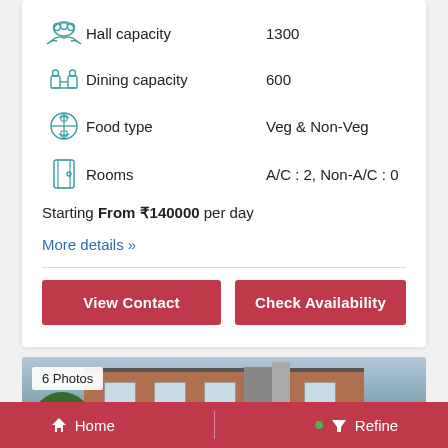Hall capacity 1300
Dining capacity 600
Food type Veg & Non-Veg
Rooms A/C : 2, Non-A/C : 0
Starting From ₹140000 per day
More details »
View Contact
Check Availability
[Figure (photo): Exterior photo of a convention/banquet hall building with brick facade, grey striped columns, and greenery on sides. Badge shows '6 Photos'.]
Home   |   Refine